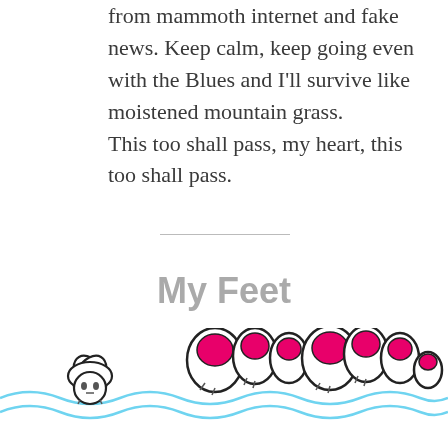from mammoth internet and fake news. Keep calm, keep going even with the Blues and I'll survive like moistened mountain grass.
This too shall pass, my heart, this too shall pass.
My Feet
[Figure (illustration): Cartoon illustration of two feet with pink/magenta painted toenails resting in water with blue wavy lines, and a small white flower with a face on the left side.]